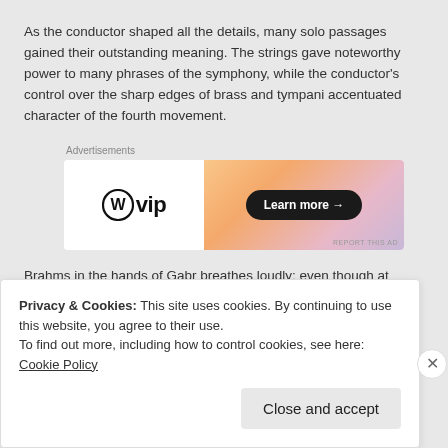As the conductor shaped all the details, many solo passages gained their outstanding meaning. The strings gave noteworthy power to many phrases of the symphony, while the conductor's control over the sharp edges of brass and tympani accentuated character of the fourth movement.
[Figure (other): WordPress VIP advertisement banner with gradient orange/pink background and 'Learn more →' button]
Brahms in the hands of Gabr breathes loudly; even though at some moments the orchestra was carried away by haste, the conductor managed to give justice to the composer's profoundly expressive charges. And as Tarek Sharara, composer and music critic noted after the concert: –Gabr clearly imposed a very well studied new concept on
Privacy & Cookies: This site uses cookies. By continuing to use this website, you agree to their use.
To find out more, including how to control cookies, see here: Cookie Policy
Close and accept